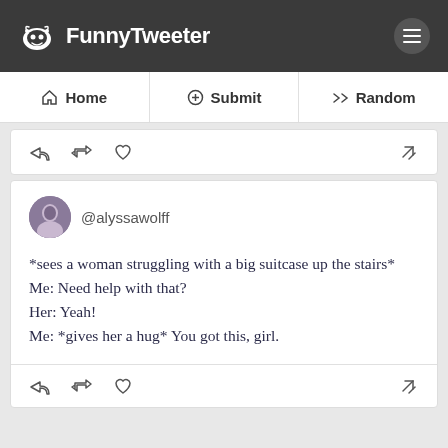FunnyTweeter
Home | Submit | Random
[Figure (screenshot): Action icons bar: reply, retweet, heart, link]
@alyssawolff
*sees a woman struggling with a big suitcase up the stairs*
Me: Need help with that?
Her: Yeah!
Me: *gives her a hug* You got this, girl.
[Figure (screenshot): Action icons bar: reply, retweet, heart, link]